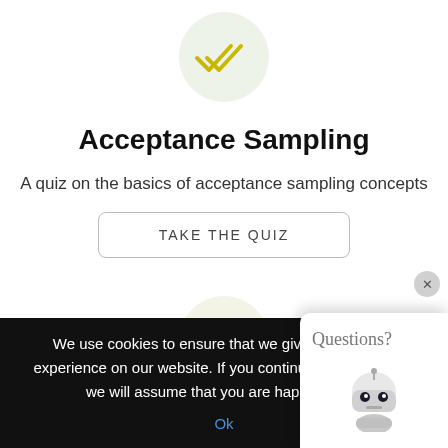[Figure (illustration): Circular icon with light green background and golden double-checkmark symbol]
Acceptance Sampling
A quiz on the basics of acceptance sampling concepts
TAKE THE QUIZ
[Figure (illustration): Circular icon with light yellow-green background and golden wifi/signal symbol]
MSA
We use cookies to ensure that we give you the best experience on our website. If you continue to use this site we will assume that you are happy with it.
Ok
Questions?